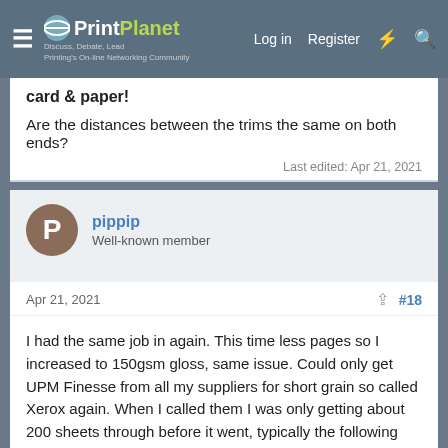PrintPlanet — Discuss, Debate, Lead — Printing's On-line Networking Community | Log in | Register
card & paper!
Are the distances between the trims the same on both ends?
Last edited: Apr 21, 2021
pippip
Well-known member
Apr 21, 2021
#18
I had the same job in again. This time less pages so I increased to 150gsm gloss, same issue. Could only get UPM Finesse from all my suppliers for short grain so called Xerox again. When I called them I was only getting about 200 sheets through before it went, typically the following day I managed to get x2000 through and no bother before they arrived.!!!
Anyway they replaced the side door on the machine, where